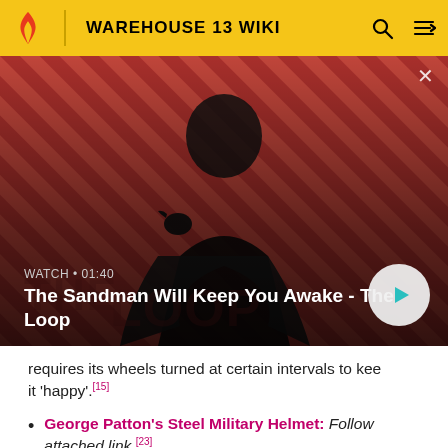WAREHOUSE 13 WIKI
[Figure (screenshot): Video banner showing a dark-cloaked figure with a raven on their shoulder against a red diagonal-striped background. Shows title 'The Sandman Will Keep You Awake - The Loop' with WATCH • 01:40 label and a play button.]
requires its wheels turned at certain intervals to keep it 'happy'.[15]
George Patton's Steel Military Helmet: Follow attached link.[23]
George Reeves's Eyeglasses: Effect(s) uncertain,